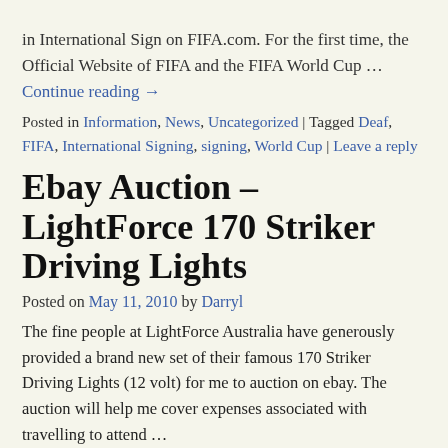in International Sign on FIFA.com. For the first time, the Official Website of FIFA and the FIFA World Cup …
Continue reading →
Posted in Information, News, Uncategorized | Tagged Deaf, FIFA, International Signing, signing, World Cup | Leave a reply
Ebay Auction – LightForce 170 Striker Driving Lights
Posted on May 11, 2010 by Darryl
The fine people at LightForce Australia have generously provided a brand new set of their famous 170 Striker Driving Lights (12 volt) for me to auction on ebay. The auction will help me cover expenses associated with travelling to attend …
Continue reading →
Posted in Fundraiser, Information | Tagged 170 Striker, auction, driving lights, Ebay, Fundraiser, LightForce | Leave a reply